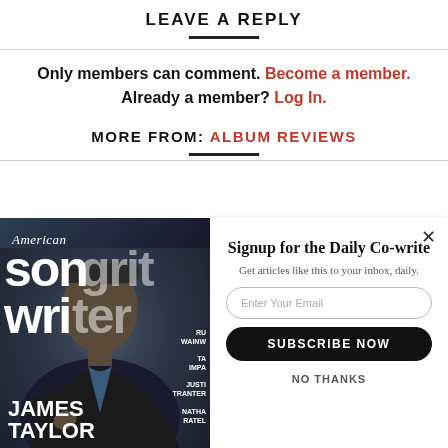LEAVE A REPLY
Only members can comment. Become a member. Already a member? Log In.
MORE FROM: ALBUM REVIEWS
[Figure (photo): American Songwriter magazine cover featuring James Taylor, with popup overlay for 'Signup for the Daily Co-write' newsletter with email input field and Subscribe Now button]
Signup for the Daily Co-write
Get articles like this to your inbox, daily.
NO THANKS